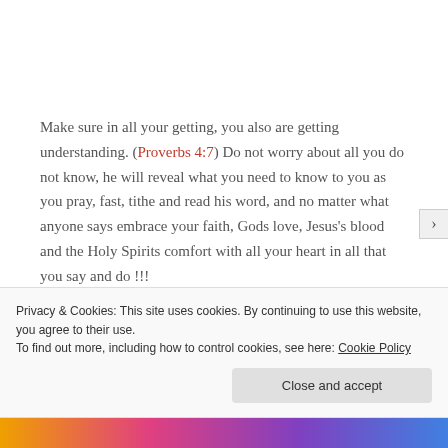Make sure in all your getting, you also are getting understanding. (Proverbs 4:7) Do not worry about all you do not know, he will reveal what you need to know to you as you pray, fast, tithe and read his word, and no matter what anyone says embrace your faith, Gods love, Jesus's blood and the Holy Spirits comfort with all your heart in all that you say and do !!!
Privacy & Cookies: This site uses cookies. By continuing to use this website, you agree to their use. To find out more, including how to control cookies, see here: Cookie Policy